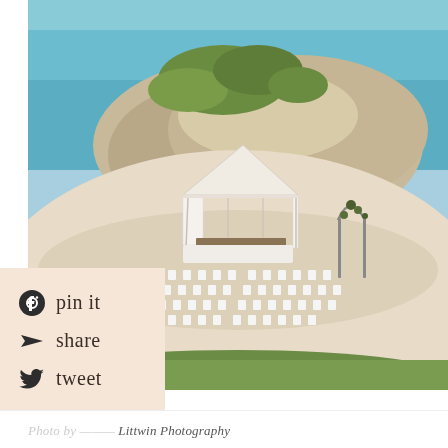[Figure (photo): Aerial view of a beach wedding ceremony setup on white sand with rows of white chairs, a white tent canopy, a decorative floral arch, and a large rocky outcrop with green vegetation behind it, set against turquoise ocean water.]
pin it
share
tweet
Photo by [redacted] Littwin Photography